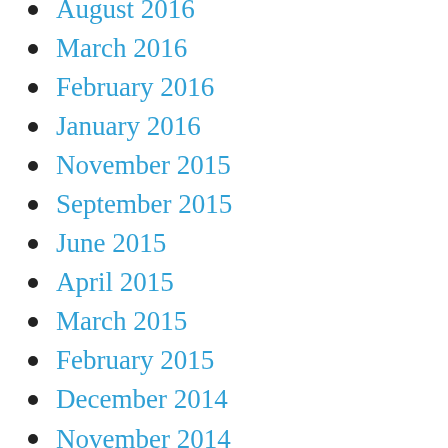August 2016
March 2016
February 2016
January 2016
November 2015
September 2015
June 2015
April 2015
March 2015
February 2015
December 2014
November 2014
September 2014
August 2014
May 2014
April 2014
March 2014